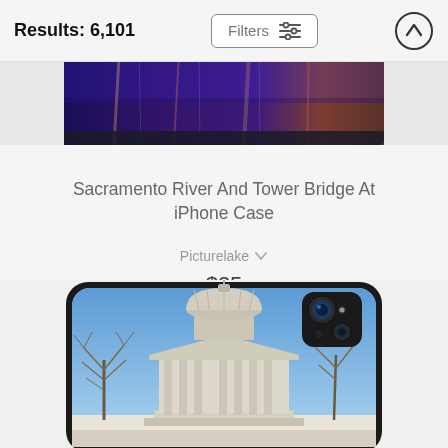Results: 6,101
[Figure (screenshot): Partial top view of an iPhone case showing a blue/purple night city reflection image, bottom portion of the phone visible]
Sacramento River And Tower Bridge At iPhone Case
Picturelake
$25
[Figure (photo): iPhone case with photo of a government/capitol building dome with columns, bare winter trees, and blue sky, with dark iPhone camera module visible in upper right]